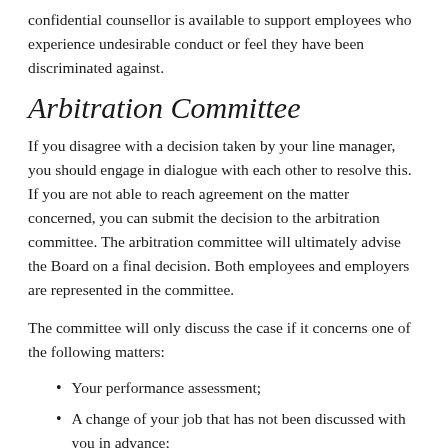confidential counsellor is available to support employees who experience undesirable conduct or feel they have been discriminated against.
Arbitration Committee
If you disagree with a decision taken by your line manager, you should engage in dialogue with each other to resolve this. If you are not able to reach agreement on the matter concerned, you can submit the decision to the arbitration committee. The arbitration committee will ultimately advise the Board on a final decision. Both employees and employers are represented in the committee.
The committee will only discuss the case if it concerns one of the following matters:
Your performance assessment;
A change of your job that has not been discussed with you in advance;